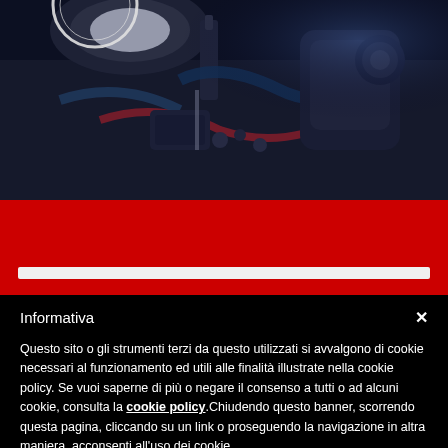[Figure (photo): Dark close-up photo of a car engine bay showing mechanical components, hoses, and parts with blue-tinted lighting]
Informativa
Questo sito o gli strumenti terzi da questo utilizzati si avvalgono di cookie necessari al funzionamento ed utili alle finalità illustrate nella cookie policy. Se vuoi saperne di più o negare il consenso a tutti o ad alcuni cookie, consulta la cookie policy.Chiudendo questo banner, scorrendo questa pagina, cliccando su un link o proseguendo la navigazione in altra maniera, acconsenti all'uso dei cookie.